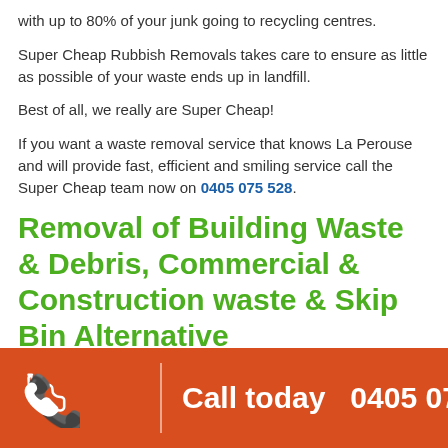with up to 80% of your junk going to recycling centres.
Super Cheap Rubbish Removals takes care to ensure as little as possible of your waste ends up in landfill.
Best of all, we really are Super Cheap!
If you want a waste removal service that knows La Perouse and will provide fast, efficient and smiling service call the Super Cheap team now on 0405 075 528.
Removal of Building Waste & Debris, Commercial & Construction waste & Skip Bin Alternative
We have been providing construction site debris and
Call today  0405 075 528